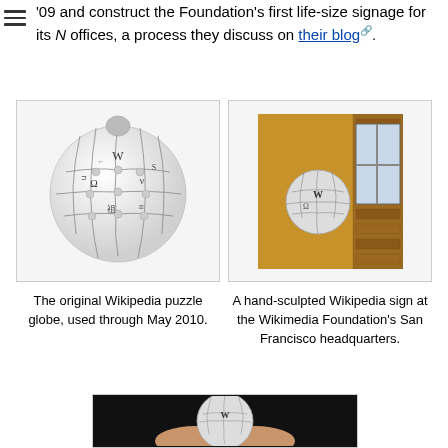09 and construct the Foundation's first life-size signage for its N offices, a process they discuss on their blog.
[Figure (photo): The original Wikipedia puzzle globe logo — a 3D globe made of jigsaw puzzle pieces with letters from various writing systems]
[Figure (photo): A hand-sculpted Wikipedia sign mounted on a yellow wall at the Wikimedia Foundation's San Francisco headquarters, with a window visible in the background]
The original Wikipedia puzzle globe, used through May 2010.
A hand-sculpted Wikipedia sign at the Wikimedia Foundation's San Francisco headquarters.
[Figure (photo): A hand holding a small Wikipedia puzzle globe model against a dark background]